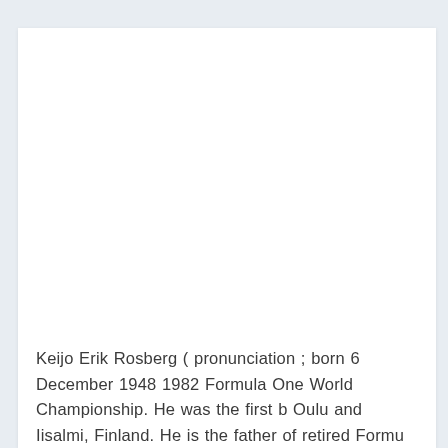[Figure (photo): Large white/blank image area at the top of the card, appearing to be a placeholder for a photograph]
Keijo Erik Rosberg ( pronunciation ; born 6 December 1948 1982 Formula One World Championship. He was the first b Oulu and Iisalmi, Finland. He is the father of retired Formu